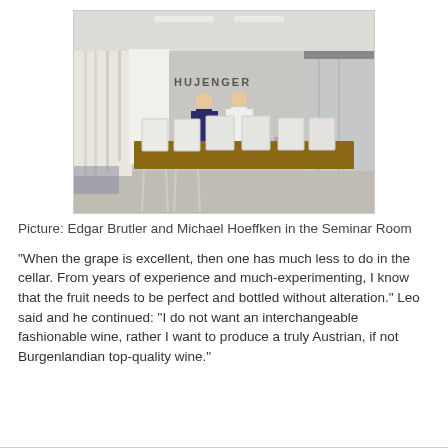[Figure (photo): Edgar Brutler and Michael Hoeffken standing in a modern seminar room with a long wooden table, white chairs, and glass walls. A sign reading HUJENGER (Huijenger) is visible in the background.]
Picture: Edgar Brutler and Michael Hoeffken in the Seminar Room
“When the grape is excellent, then one has much less to do in the cellar. From years of experience and much-experimenting, I know that the fruit needs to be perfect and bottled without alteration.” Leo said and he continued: “I do not want an interchangeable fashionable wine, rather I want to produce a truly Austrian, if not Burgenlandian top-quality wine.”